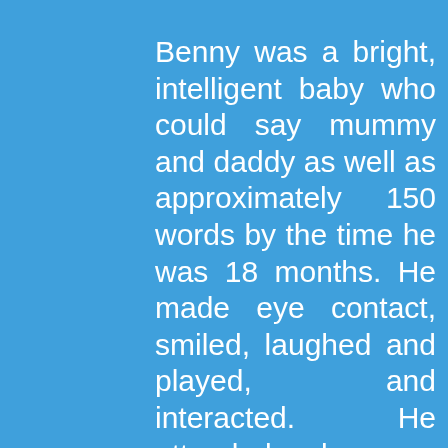Benny was a bright, intelligent baby who could say mummy and daddy as well as approximately 150 words by the time he was 18 months. He made eye contact, smiled, laughed and played, and interacted. He attended playgroup as happily as any other child. He ticked off all the landmarks such as crawling, walking and talking and loved reading books and going to the park.

As he approached his second birthday my wife Gab and I noticed some worrying signs.